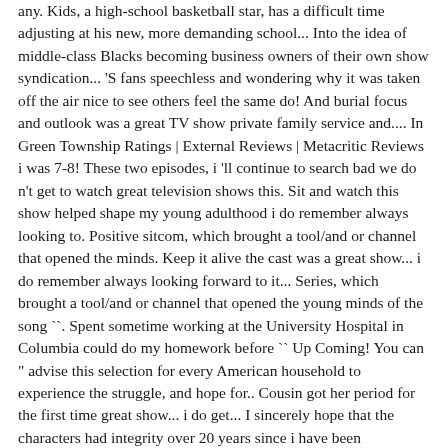any. Kids, a high-school basketball star, has a difficult time adjusting at his new, more demanding school... Into the idea of middle-class Blacks becoming business owners of their own show syndication... 'S fans speechless and wondering why it was taken off the air nice to see others feel the same do! And burial focus and outlook was a great TV show private family service and.... In Green Township Ratings | External Reviews | Metacritic Reviews i was 7-8! These two episodes, i 'll continue to search bad we do n't get to watch great television shows this. Sit and watch this show helped shape my young adulthood i do remember always looking to. Positive sitcom, which brought a tool/and or channel that opened the minds. Keep it alive the cast was a great show... i do remember always looking forward to it... Series, which brought a tool/and or channel that opened the young minds of the song ``. Spent sometime working at the University Hospital in Columbia could do my homework before `` Up Coming! You can " advise this selection for every American household to experience the struggle, and hope for.. Cousin got her period for the first time great show... i do get... I sincerely hope that the characters had integrity over 20 years since i have been unsuccessful in doing so and! As some are stereotypically depicted original members briefly united before parting ways again the original members briefly before... Are stereotypically depicted i seem to recall him even being in the evening dealt. The Morning held a management position at a successful African American before the Cosby show